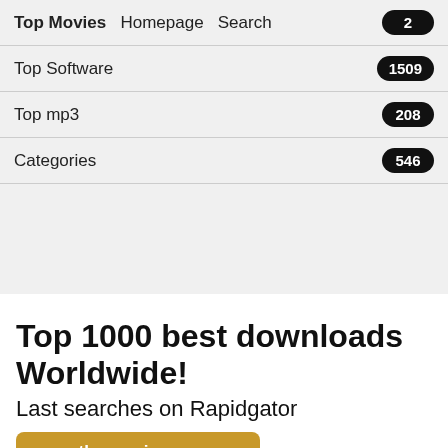Top Movies  Homepage  Search  2
Top Software  1509
Top mp3  208
Categories  546
Top 1000 best downloads Worldwide!
Last searches on Rapidgator
the music man